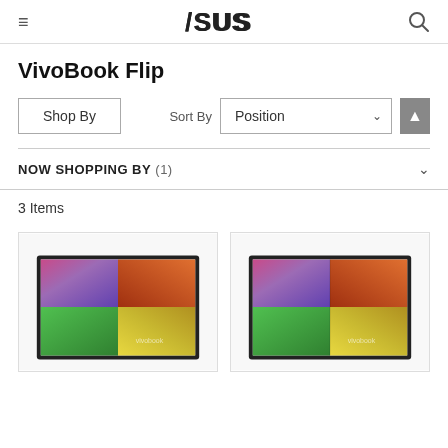≡  ASUS  🔍
VivoBook Flip
Shop By
Sort By  Position
NOW SHOPPING BY (1)
3 Items
[Figure (photo): ASUS VivoBook laptop product image, colorful rainbow wallpaper visible on screen, left product card]
[Figure (photo): ASUS VivoBook laptop product image, colorful rainbow wallpaper visible on screen, right product card]